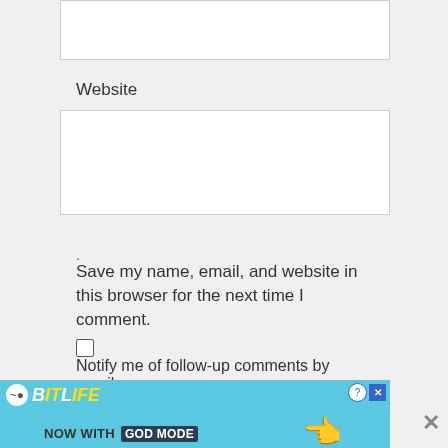[Figure (screenshot): Top input text box (partially visible at top of page)]
Website
[Figure (screenshot): Website text input box]
.
Save my name, email, and website in this browser for the next time I comment.
Notify me of follow-up comments by email.
Notify me of new posts by email.
[Figure (screenshot): POST COMMENT button]
[Figure (screenshot): BitLife advertisement banner: NOW WITH GOD MODE]